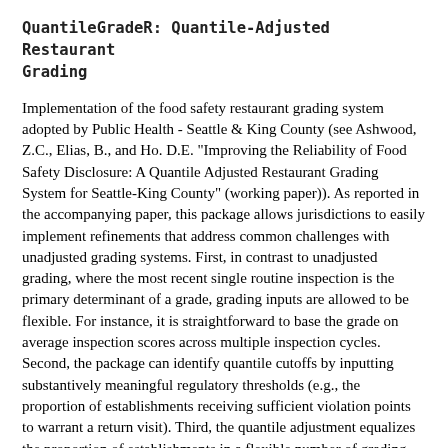QuantileGradeR: Quantile-Adjusted Restaurant Grading
Implementation of the food safety restaurant grading system adopted by Public Health - Seattle & King County (see Ashwood, Z.C., Elias, B., and Ho. D.E. "Improving the Reliability of Food Safety Disclosure: A Quantile Adjusted Restaurant Grading System for Seattle-King County" (working paper)). As reported in the accompanying paper, this package allows jurisdictions to easily implement refinements that address common challenges with unadjusted grading systems. First, in contrast to unadjusted grading, where the most recent single routine inspection is the primary determinant of a grade, grading inputs are allowed to be flexible. For instance, it is straightforward to base the grade on average inspection scores across multiple inspection cycles. Second, the package can identify quantile cutoffs by inputting substantively meaningful regulatory thresholds (e.g., the proportion of establishments receiving sufficient violation points to warrant a return visit). Third, the quantile adjustment equalizes the proportion of establishments in a flexible number of grading categories (e.g., A/B/C) across areas (e.g., ZIP codes, inspector areas) to account for inspector differences. Fourth, the package implements a refined quantile adjustment that addresses two limitations with the stats::quantile() function when applied to large datasets with large numbers of repetitions. The